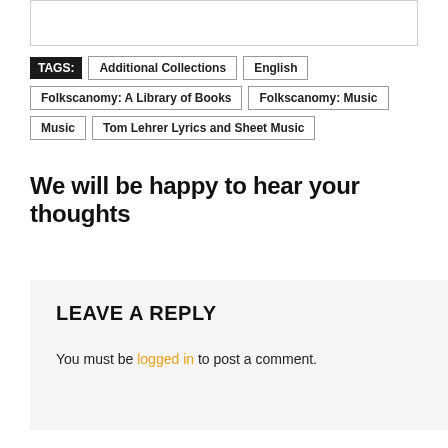TAGS: Additional Collections | English | Folkscanomy: A Library of Books | Folkscanomy: Music | Music | Tom Lehrer Lyrics and Sheet Music
We will be happy to hear your thoughts
LEAVE A REPLY
You must be logged in to post a comment.